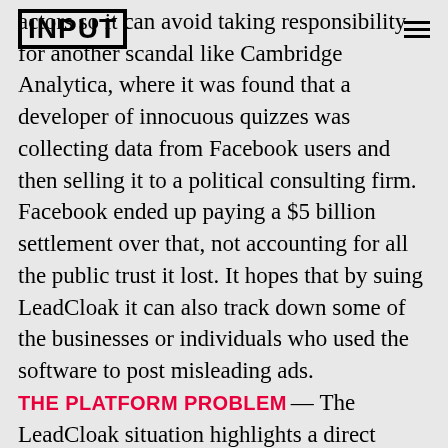INPUT
actors so it can avoid taking responsibility for another scandal like Cambridge Analytica, where it was found that a developer of innocuous quizzes was collecting data from Facebook users and then selling it to a political consulting firm. Facebook ended up paying a $5 billion settlement over that, not accounting for all the public trust it lost. It hopes that by suing LeadCloak it can also track down some of the businesses or individuals who used the software to post misleading ads.
THE PLATFORM PROBLEM
The LeadCloak situation highlights a direct problem with Facebook's fundamental model as a platform. Most advertisements sold on Facebook are never actually reviewed by a human but rather by automated systems, because it's far cheaper and far more scalable. That means people